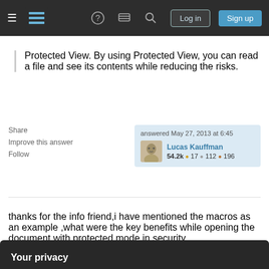Stack Exchange navigation bar with Log in and Sign up buttons
Protected View. By using Protected View, you can read a file and see its contents while reducing the risks.
Share  Improve this answer  Follow  answered May 27, 2013 at 6:45  Lucas Kauffman  54.2k 17 112 196
thanks for the info friend,i have mentioned the macros as an example ,what were the key benefits while opening the document with protected mode in security
Your privacy
By clicking "Accept all cookies", you agree Stack Exchange can store cookies on your device and disclose information in accordance with our Cookie Policy.
Accept all cookies  Customize settings